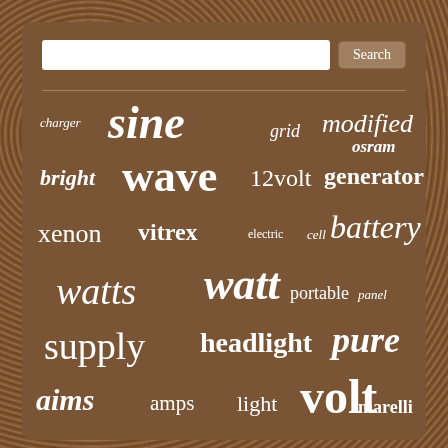[Figure (infographic): Word cloud of electrical/power-related search terms on a brown background with a search bar at top. Terms include: sine, grid, modified, osram, charger, bright, wave, 12volt, generator, xenon, vitrex, electric, cell, battery, watts, watt, portable, panel, supply, headlight, pure, aims, amps, light, volt, marelli, volts, magneti, 12-volt, 120volt, inverter, voltage, solar, power, amplifier]